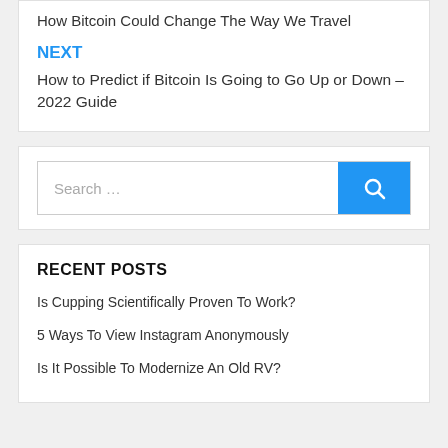How Bitcoin Could Change The Way We Travel
NEXT
How to Predict if Bitcoin Is Going to Go Up or Down – 2022 Guide
Search …
RECENT POSTS
Is Cupping Scientifically Proven To Work?
5 Ways To View Instagram Anonymously
Is It Possible To Modernize An Old RV?